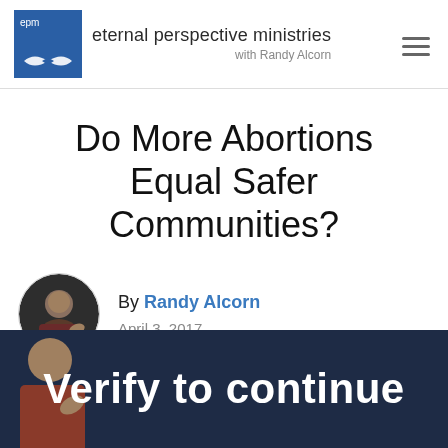eternal perspective ministries with Randy Alcorn
Do More Abortions Equal Safer Communities?
By Randy Alcorn
April 3, 2017
[Figure (photo): Dark navy banner with white bold text reading 'Verify to continue', with a partial figure of a person visible at lower left]
Verify to continue